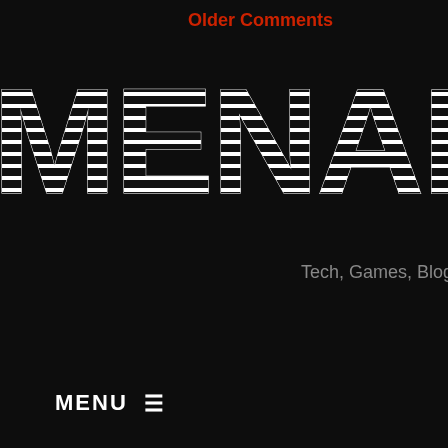Older Comments
[Figure (logo): MENARDCO large striped retro logo text in white on black background, partially cropped on the right]
Tech, Games, Blogg...
MENU ☰